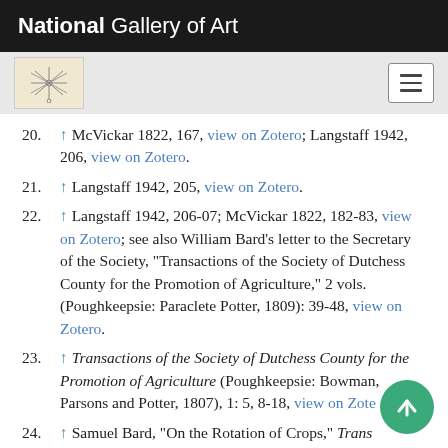National Gallery of Art
20. ↑ McVickar 1822, 167, view on Zotero; Langstaff 1942, 206, view on Zotero.
21. ↑ Langstaff 1942, 205, view on Zotero.
22. ↑ Langstaff 1942, 206-07; McVickar 1822, 182-83, view on Zotero; see also William Bard's letter to the Secretary of the Society, "Transactions of the Society of Dutchess County for the Promotion of Agriculture," 2 vols. (Poughkeepsie: Paraclete Potter, 1809): 39-48, view on Zotero.
23. ↑ Transactions of the Society of Dutchess County for the Promotion of Agriculture (Poughkeepsie: Bowman, Parsons and Potter, 1807), 1: 5, 8-18, view on Zotero.
24. ↑ Samuel Bard, "On the Rotation of Crops," Transactions of the Society of Dutchess County for the Promotion of